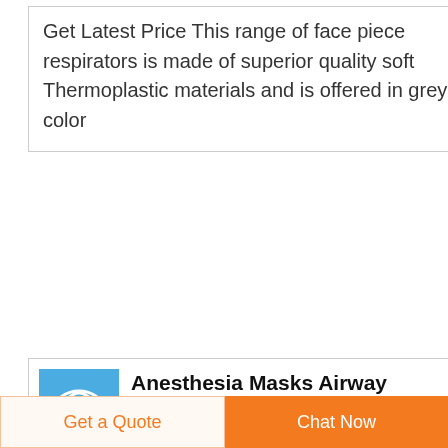Get Latest Price This range of face piece respirators is made of superior quality soft Thermoplastic materials and is offered in grey color
Anesthesia Masks Airway Management Smiths Medical
Smiths Medical offers a comprehensive selection of disposable single use Anesthesia Face Masks Product Benefits Malleable
[Figure (logo): Blue square product icon with a white anesthesia mask symbol]
Get a Quote
Chat Now